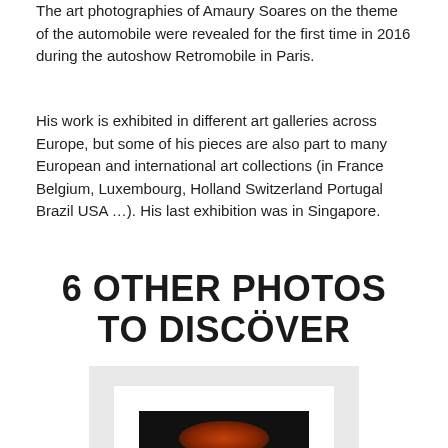The art photographies of Amaury Soares on the theme of the automobile were revealed for the first time in 2016 during the autoshow Retromobile in Paris.
His work is exhibited in different art galleries across Europe, but some of his pieces are also part to many European and international art collections (in France Belgium, Luxembourg, Holland Switzerland Portugal Brazil USA …). His last exhibition was in Singapore.
6 OTHER PHOTOS TO DISCÖVER
[Figure (photo): A framed photograph displayed on a light grey background. The photo has a white mat and shows a dark image with an orange/red glowing subject, partially visible at the bottom of the page.]